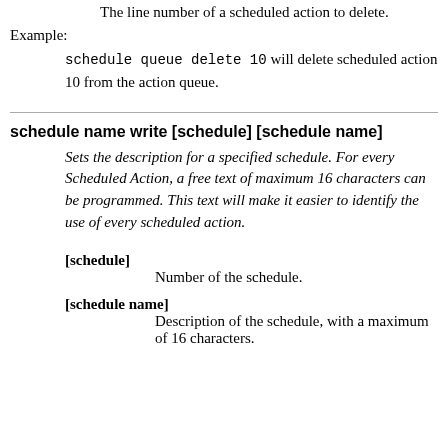The line number of a scheduled action to delete.
Example:
schedule queue delete 10 will delete scheduled action 10 from the action queue.
schedule name write [schedule] [schedule name]
Sets the description for a specified schedule. For every Scheduled Action, a free text of maximum 16 characters can be programmed. This text will make it easier to identify the use of every scheduled action.
[schedule]
Number of the schedule.
[schedule name]
Description of the schedule, with a maximum of 16 characters.